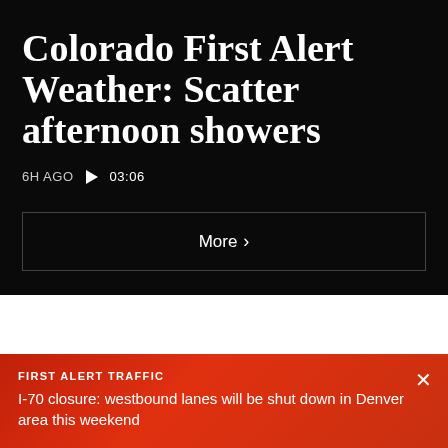Colorado First Alert Weather: Scatter afternoon showers
6H AGO  ▶ 03:06
More ›
Trending
FIRST ALERT TRAFFIC
I-70 closure: westbound lanes will be shut down in Denver area this weekend